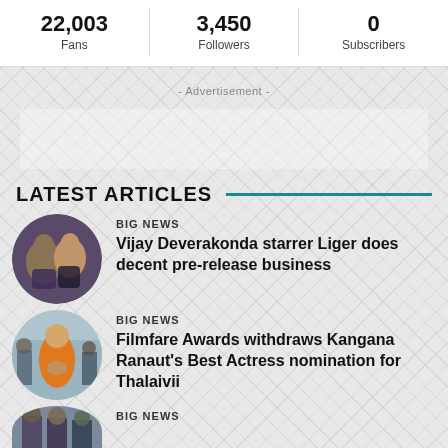| Fans | Followers | Subscribers |
| --- | --- | --- |
| 22,003 | 3,450 | 0 |
- Advertisement -
LATEST ARTICLES
BIG NEWS
Vijay Deverakonda starrer Liger does decent pre-release business
BIG NEWS
Filmfare Awards withdraws Kangana Ranaut's Best Actress nomination for Thalaivii
BIG NEWS